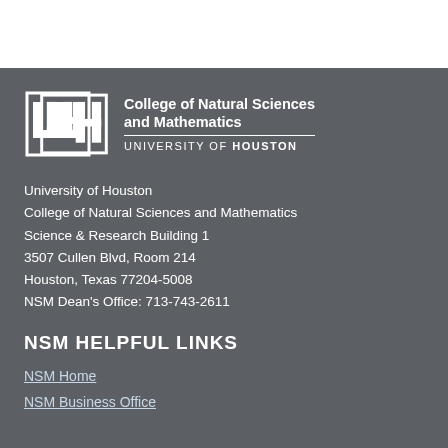[Figure (logo): University of Houston College of Natural Sciences and Mathematics logo with UH interlocking letters mark]
University of Houston
College of Natural Sciences and Mathematics
Science & Research Building 1
3507 Cullen Blvd, Room 214
Houston, Texas 77204-5008
NSM Dean's Office: 713-743-2611
NSM HELPFUL LINKS
NSM Home
NSM Business Office